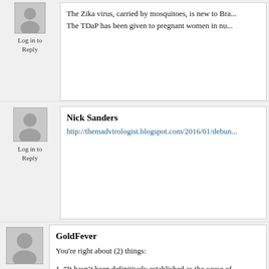The Zika virus, carried by mosquitoes, is new to Bra... The TDaP has been given to pregnant women in nu...
Log in to Reply
Nick Sanders
http://themadvirologist.blogspot.com/2016/01/debun...
Log in to Reply
GoldFever
You're right about (2) things:
1. "It hasn't been definitively established as the cause of... has 25,0000 new cases of microcephaly per year.
2. We "anti-vaxxers" , or "free thinkers" depending on yo... discussion. #MyBodyMyChoice
Log in to Reply
Azuran
So long as you don't go around crying when you or y... putting other vulnerable people at risk, do whatever...